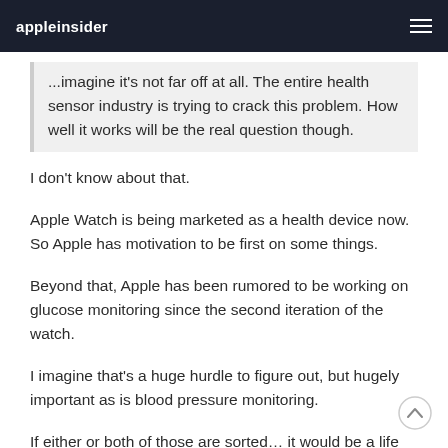appleinsider
...imagine it's not far off at all. The entire health sensor industry is trying to crack this problem. How well it works will be the real question though.
I don't know about that.
Apple Watch is being marketed as a health device now. So Apple has motivation to be first on some things.
Beyond that, Apple has been rumored to be working on glucose monitoring since the second iteration of the watch.
I imagine that's a huge hurdle to figure out, but hugely important as is blood pressure monitoring.
If either or both of those are sorted… it would be a life changer for many.
I can see Apple being first on either or both.